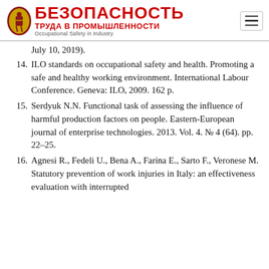[Figure (logo): Bezopasnost Truda v Promyshlennosti journal logo with red Cyrillic text and emblem, subtitle 'Occupational Safety in Industry']
July 10, 2019).
14. ILO standards on occupational safety and health. Promoting a safe and healthy working environment. International Labour Conference. Geneva: ILO, 2009. 162 p.
15. Serdyuk N.N. Functional task of assessing the influence of harmful production factors on people. Eastern-European journal of enterprise technologies. 2013. Vol. 4. № 4 (64). pp. 22–25.
16. Agnesi R., Fedeli U., Bena A., Farina E., Sarto F., Veronese M. Statutory prevention of work injuries in Italy: an effectiveness evaluation with interrupted